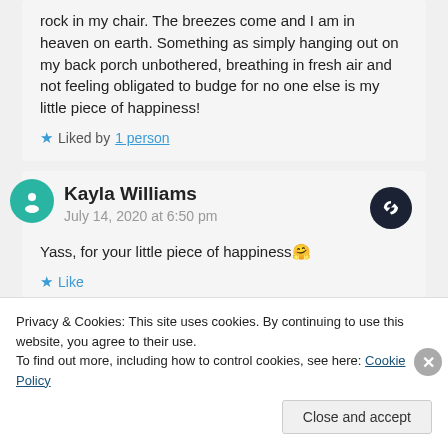rock in my chair. The breezes come and I am in heaven on earth. Something as simply hanging out on my back porch unbothered, breathing in fresh air and not feeling obligated to budge for no one else is my little piece of happiness!
★ Liked by 1 person
Kayla Williams
July 14, 2020 at 6:50 pm
Yass, for your little piece of happiness 🤗
★ Like
Privacy & Cookies: This site uses cookies. By continuing to use this website, you agree to their use.
To find out more, including how to control cookies, see here: Cookie Policy
Close and accept